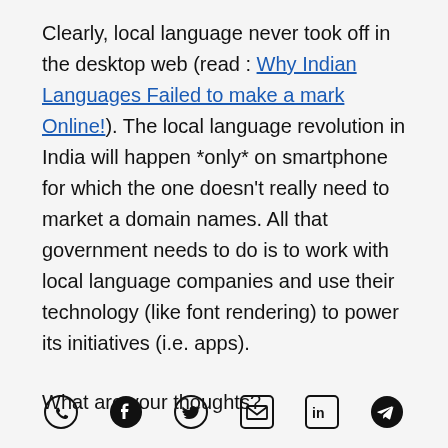Clearly, local language never took off in the desktop web (read : Why Indian Languages Failed to make a mark Online!). The local language revolution in India will happen *only* on smartphone for which the one doesn't really need to market a domain names. All that government needs to do is to work with local language companies and use their technology (like font rendering) to power its initiatives (i.e. apps).
What are your thoughts?
[Figure (other): Social sharing icons row: WhatsApp, Facebook, Twitter, Email, LinkedIn, Telegram]